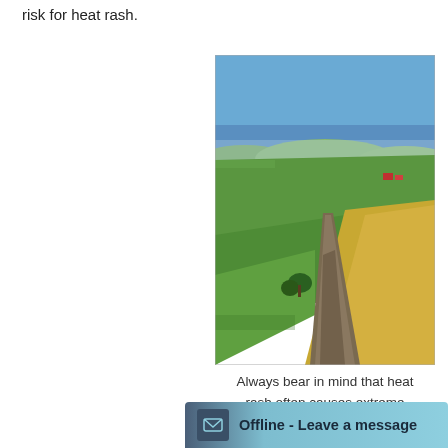risk for heat rash.
[Figure (photo): Aerial/landscape photo of rolling agricultural fields — green crops on the left, golden harvested fields on the right, a winding dirt road through the middle, blue sky above.]
Always bear in mind that heat rash often causes extreme
Offline - Leave a message